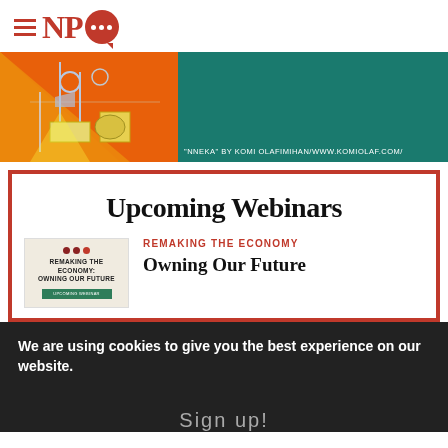[Figure (logo): NPQ logo with hamburger menu icon, red serif NPQ letters and red speech bubble with dots]
[Figure (illustration): Banner image: left side has orange/yellow abstract illustration, right side is dark teal/green with caption text]
"NNEKA" BY KOMI OLAFIMIHAN/WWW.KOMIOLAF.COM/
Upcoming Webinars
[Figure (illustration): Thumbnail showing Remaking the Economy: Owning Our Future cover with colored dots and green bar]
REMAKING THE ECONOMY
Owning Our Future
We are using cookies to give you the best experience on our website.
Sign up!